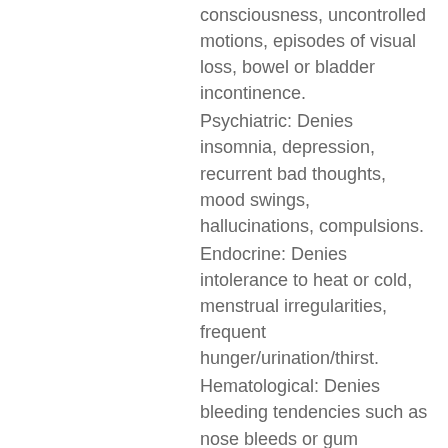consciousness, uncontrolled motions, episodes of visual loss, bowel or bladder incontinence.
Psychiatric: Denies insomnia, depression, recurrent bad thoughts, mood swings, hallucinations, compulsions.
Endocrine: Denies intolerance to heat or cold, menstrual irregularities, frequent hunger/urination/thirst.
Hematological: Denies bleeding tendencies such as nose bleeds or gum bleeding, easy bruising.
Objective
Vital Signs: Bp: 140/70, HR: 80 beats/min, 20 RR, HT: 5'5", WT: 176.37 lbs.
Physical Examination
The patient has no back tenderness, positive Lasegue sign (straight leg test), absent ankle reflex, unremarkable strength, and sensation, intact bilateral hip motion.
Laboratory Findings
Magnetic resonance imaging is the most accurate assessment for the lumbar spine